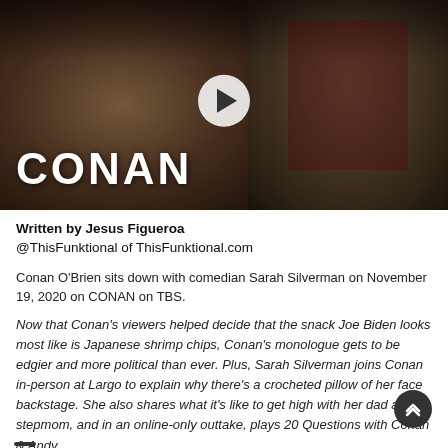[Figure (screenshot): Video thumbnail showing Sarah Silverman and Conan O'Brien with CONAN logo overlay and play button]
Written by Jesus Figueroa
@ThisFunktional of ThisFunktional.com
Conan O'Brien sits down with comedian Sarah Silverman on November 19, 2020 on CONAN on TBS.
Now that Conan's viewers helped decide that the snack Joe Biden looks most like is Japanese shrimp chips, Conan's monologue gets to be edgier and more political than ever. Plus, Sarah Silverman joins Conan in-person at Largo to explain why there's a crocheted pillow of her face backstage. She also shares what it's like to get high with her dad and stepmom, and in an online-only outtake, plays 20 Questions with Conan & Andy.